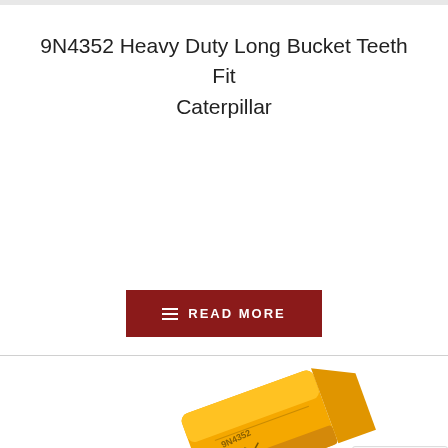9N4352 Heavy Duty Long Bucket Teeth Fit Caterpillar
[Figure (photo): Product image area (empty/placeholder) above the Read More button]
READ MORE
[Figure (photo): Partial view of a yellow Caterpillar bucket tooth product (9N4352), photographed at an angle showing the orange/yellow metal piece with stamped markings. A reCAPTCHA badge is visible in the bottom-right corner with Privacy and Terms links.]